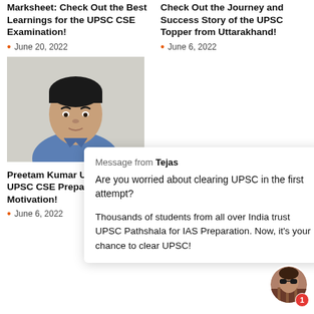Marksheet: Check Out the Best Learnings for the UPSC CSE Examination!
June 20, 2022
Check Out the Journey and Success Story of the UPSC Topper from Uttarakhand!
June 6, 2022
[Figure (photo): Headshot photo of Preetam Kumar, a young man in a blue shirt]
Preetam Kumar UP Elevate UPSC CSE Preparation with In Motivation!
June 6, 2022
Message from Tejas
Are you worried about clearing UPSC in the first attempt?

Thousands of students from all over India trust UPSC Pathshala for IAS Preparation. Now, it's your chance to clear UPSC!
[Figure (photo): Small circular avatar of a person in a plaid shirt, with a red notification badge showing 1]